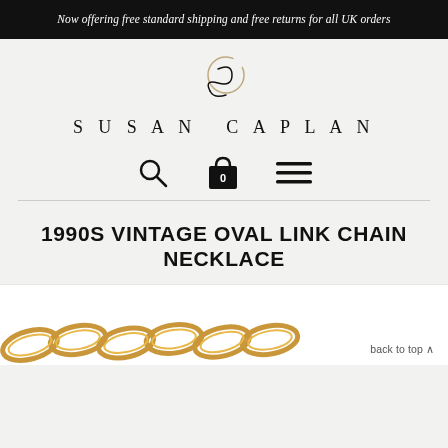Now offering free standard shipping and free returns for all UK orders
[Figure (logo): Susan Caplan brand logo: stylized intertwined S and C letterforms in gold outline, with the text SUSAN CAPLAN in spaced serif capitals below]
[Figure (infographic): Navigation icons: magnifying glass (search), shopping bag with number 0, and hamburger menu (three horizontal lines)]
1990S VINTAGE OVAL LINK CHAIN NECKLACE
[Figure (photo): Partial view of gold-toned oval link chain necklace product photo, with 'back to top ^' link in bottom right corner]